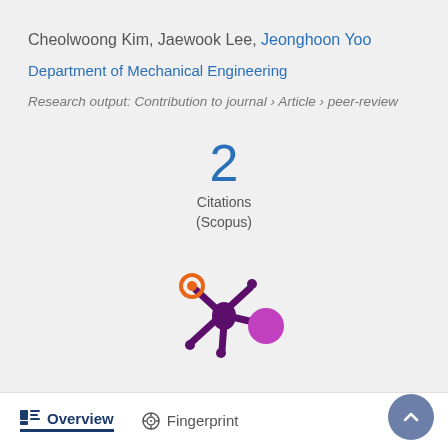Cheolwoong Kim, Jaewook Lee, Jeonghoon Yoo
Department of Mechanical Engineering
Research output: Contribution to journal › Article › peer-review
[Figure (infographic): Citation count badge showing '2 Citations (Scopus)']
[Figure (logo): Altmetric donut/splash logo in purple, orange, and magenta]
Overview   Fingerprint